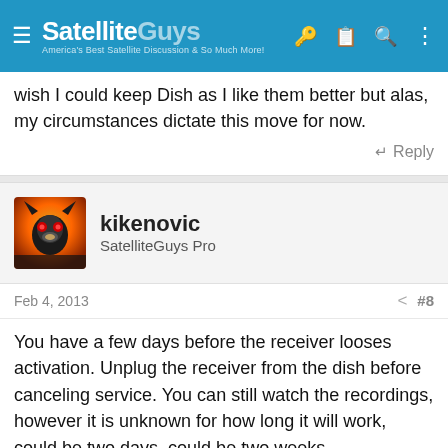SatelliteGuys — America's Best Satellite Discussion & So Much More!
wish I could keep Dish as I like them better but alas, my circumstances dictate this move for now.
↵ Reply
kikenovic
SatelliteGuys Pro
Feb 4, 2013   #8
You have a few days before the receiver looses activation. Unplug the receiver from the dish before canceling service. You can still watch the recordings, however it is unknown for how long it will work, could be two days, could be two weeks.
Depending on how much stuff you have, it may be